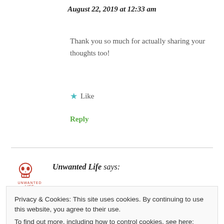August 22, 2019 at 12:33 am
Thank you so much for actually sharing your thoughts too!
★ Like
Reply
Unwanted Life says:
Privacy & Cookies: This site uses cookies. By continuing to use this website, you agree to their use.
To find out more, including how to control cookies, see here: Cookie Policy
Close and accept